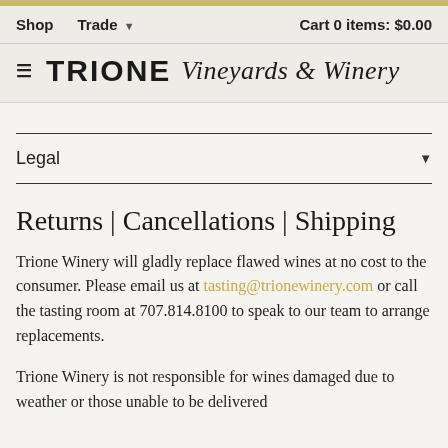Shop  Trade  Cart 0 items: $0.00
TRIONE Vineyards & Winery
Legal
Returns | Cancellations | Shipping
Trione Winery will gladly replace flawed wines at no cost to the consumer. Please email us at tasting@trionewinery.com or call the tasting room at 707.814.8100 to speak to our team to arrange replacements.
Trione Winery is not responsible for wines damaged due to weather or those unable to be delivered